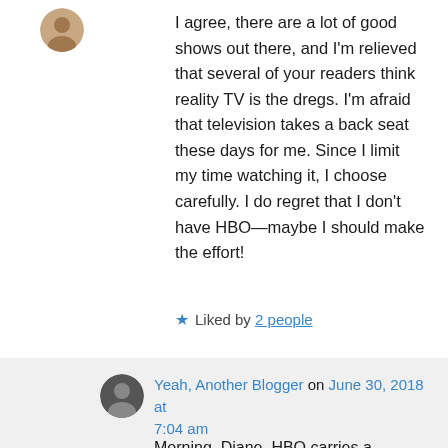[Figure (photo): Small circular avatar photo of a person at top left]
I agree, there are a lot of good shows out there, and I'm relieved that several of your readers think reality TV is the dregs. I'm afraid that television takes a back seat these days for me. Since I limit my time watching it, I choose carefully. I do regret that I don't have HBO—maybe I should make the effort!
★ Liked by 2 people
[Figure (photo): Small circular avatar photo of Yeah Another Blogger]
Yeah, Another Blogger on June 30, 2018 at 7:04 am
Morning, Diane. HBO carries a commentary program by John Oliver, who is a very bright guy. He rips into Trump